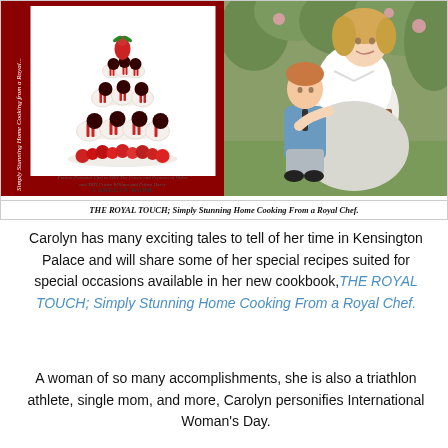[Figure (photo): Two photos side by side: left is the book cover of 'THE ROYAL TOUCH; Simply Stunning Home Cooking From a Royal Chef' by Carolyn Robb showing a layered dessert tower; right is a photo of Princess Diana with a young boy (Prince Harry) outdoors.]
THE ROYAL TOUCH; Simply Stunning Home Cooking From a Royal Chef.
Carolyn has many exciting tales to tell of her time in Kensington Palace and will share some of her special recipes suited for special occasions available in her new cookbook, THE ROYAL TOUCH; Simply Stunning Home Cooking From a Royal Chef.
A woman of so many accomplishments, she is also a triathlon athlete, single mom, and more, Carolyn personifies International Woman's Day.